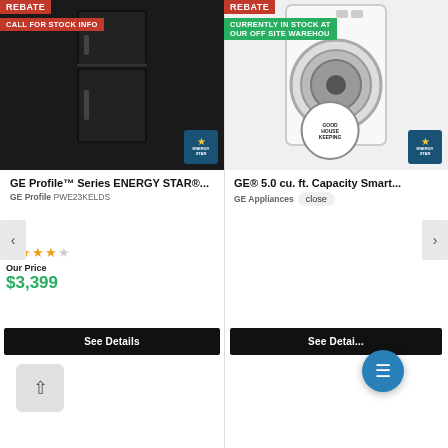[Figure (screenshot): Product listing page showing two GE appliances with rebate badges, product images, ratings, pricing, and a chat popup overlay.]
REBATE
CALL FOR STOCK INFO
GE Profile™ Series ENERGY STAR®...
GE Profile PWE23KELDS
★★★★☆ (4.5 stars)
Our Price
$3,399
See Details
REBATE
CURRENTLY IN STOCK AT OUR OFF SITE WAREHOUSE
GE® 5.0 cu. ft. Capacity Smart...
GE Appliances
close
See Details
We're here to help! Text us to get started.